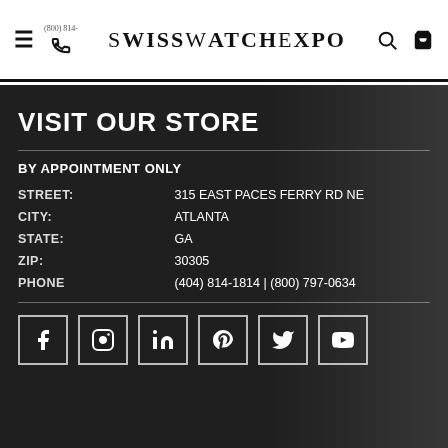SwissWatchExpo
VISIT OUR STORE
BY APPOINTMENT ONLY
| Field | Value |
| --- | --- |
| STREET: | 315 EAST PACES FERRY RD NE |
| CITY: | ATLANTA |
| STATE: | GA |
| ZIP: | 30305 |
| PHONE | (404) 814-1814 | (800) 797-0634 |
[Figure (infographic): Social media icons: Facebook, Instagram, LinkedIn, Pinterest, Twitter, YouTube]